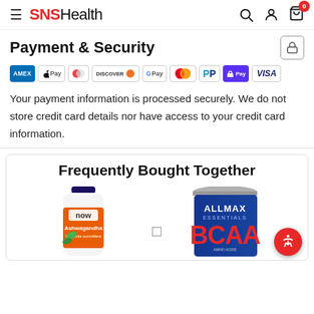SNSHealth
Payment & Security
[Figure (other): Payment method logos: AMEX, Apple Pay, Diners, Discover, Google Pay, Mastercard, PayPal, Shop Pay, Visa]
Your payment information is processed securely. We do not store credit card details nor have access to your credit card information.
Frequently Bought Together
[Figure (photo): Two supplement product bottles: NOW Ashwagandha on the left and ALLMAX Essentials BCAA on the right, with a plus sign between them.]